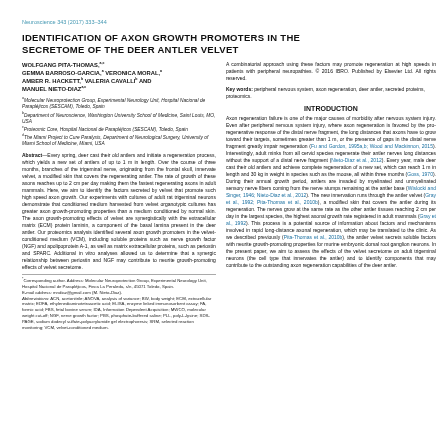Neuroscience 343 (2017) 333–344
IDENTIFICATION OF AXON GROWTH PROMOTERS IN THE SECRETOME OF THE DEER ANTLER VELVET
WOLFGANG PITA-THOMAS,a,c GEMMA BARROSO-GARCIA,a VERONICA MORAL,a AMBER R. HACKETT,b VALERIA CAVALLIa AND MANUEL NIETO-DIAZ a,c
a Molecular Neuroprotection Group, Experimental Neurology Unit, Hospital Nacional de Parapléjicos (SESCAM), Toledo, Spain
b Department of Neuroscience, Washington University School of Medicine, Saint Louis, MO, USA
c Proteomic Core, Hospital Nacional de Parapléjicos (SESCAM), Toledo, Spain
d The Miami Project to Cure Paralysis, Department of Neurological Surgery, University of Miami School of Medicine, Miami, USA
Abstract—Every spring, deer cast their old antlers and initiate a regeneration process, which yields a new set of antlers of up to 1 m in length. Over the course of three months, branches of the trigeminal nerve, originating from the frontal skull, innervate velvet, a modified skin that covers the regenerating antler. The rate of growth of these axons reaches up to 2 cm per day making them the fastest regenerating axons in adult mammals. Here, we aim to identify the factors secreted by velvet that promote such high speed axon growth. Our experiments with cultures of adult rat trigeminal neurons demonstrate that conditioned medium harvested from velvet organotypic cultures has greater axon growth-promoting properties than a medium conditioned by normal skin. The axon growth-promoting effects of velvet are synergistically with the extracellular matrix (ECM) protein laminin, a component of the basal lamina present in the deer antler. Our proteomics analysis identified several axon growth promoters in the velvet-conditioned medium (VCM), including soluble proteins such as nerve growth factor (NGF) and apolipoprotein A-1, as well as matrix extracellular proteins, such as periostin and SPARC. Additional in vitro analyses allowed us to determine that a synergic relationship between periostin and NGF may contribute to neurite growth-promoting effects of velvet secretome.
A combinatorial approach using these factors may promote regeneration at high speeds in patients with peripheral neuropathies. © 2016 IBRO. Published by Elsevier Ltd. All rights reserved.
Key words: peripheral nervous system, axon regeneration, deer antler, secreted proteins, proteomics.
INTRODUCTION
Axon regeneration failure is one of the major causes of morbidity after nervous system injury. Even after peripheral nervous system injury, where axon regeneration is favored by the pro-regenerative response of the distal nerve fragment, the long distances that axons have to grow toward their targets, sometimes greater than 1 m, or the presence of gaps in the distal nerve fragment greatly impair regeneration (Fu and Gordon, 1995a,b; Wood and Mackinnon, 2015). Interestingly, adult minks from all cervid species regenerate their antler nerves long distances without the support of a distal nerve fragment (Nieto-Diaz et al., 2012). Every year, male deer cast their old antlers and achieve complete regeneration of a new set, which can reach 1 m in length and 30 kg in weight in species such as the moose, all within three months (Goss, 1970). During their annual growth period, antlers are invaded by myelinated and unmyelinated sensory nerve fibers coming from the nerve stumps remaining at the antler base (Wislocki and Singer, 1946; Nieto-Diaz et al., 2012). The new innervation runs through the antler velvet (Gray et al., 1992; Pita-Thomas et al., 2010b), a modified skin that covers the antler during its regeneration. The nerves grow at the same rate as the other antler tissues reaching 2 cm per day in the largest species, the highest axonal growth rate registered in adult mammals (Gray et al., 1992). This process is a potential source of information about factors and mechanisms involved in rapid long-distance axonal regeneration, which may be translated to the clinic. As we described previously (Pita-Thomas et al., 2010b), the antler velvet secrets soluble factors with neurite growth-promoting properties for murine embryonic dorsal root ganglion neurons. In the present paper, we aim to assess the effects of the velvet secretome on adult trigeminal neurons (the cell type that innervates the antler) and to identify components that may contribute to the outstanding axon regeneration capabilities of the deer antler.
* Corresponding author. Address: Molecular Neuroprotection Group, Experimental Neurology Unit, Hospital Nacional de Parapléjicos, Finca La Peraleda, s/n, 45071 Toledo, Spain. E-mail address: mndiaz@gmail.com (M. Nieto-Diaz). Abbreviations: ACN, acetonitrile; ANOVA, analysis of variance; BW, body weight; ECM, extracellular matrix; EDFA, ethylenediaminotetraacetic acid; ELISA, enzyme linked immunosorbent assay; FA, formic acid; FBS, fetal bovine serum; IDA, Information Dependent Acquisition; MWCO, molecular weight cut-off; NGF, nerve growth factor; PBS, phosphate-buffered saline; PLL, poly-L-lysine; SDS-PAGE, sodium dodecyl sulfate-polyacrylamide gel electrophoresis; SRM, selected reaction monitoring; VCM, velvet-conditioned medium.